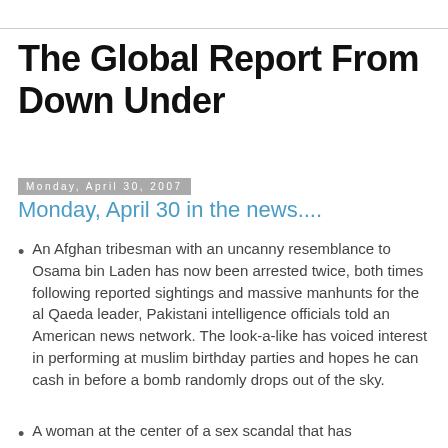The Global Report From Down Under
Monday, April 30, 2007
Monday, April 30 in the news....
An Afghan tribesman with an uncanny resemblance to Osama bin Laden has now been arrested twice, both times following reported sightings and massive manhunts for the al Qaeda leader, Pakistani intelligence officials told an American news network. The look-a-like has voiced interest in performing at muslim birthday parties and hopes he can cash in before a bomb randomly drops out of the sky.
A woman at the center of a sex scandal that has